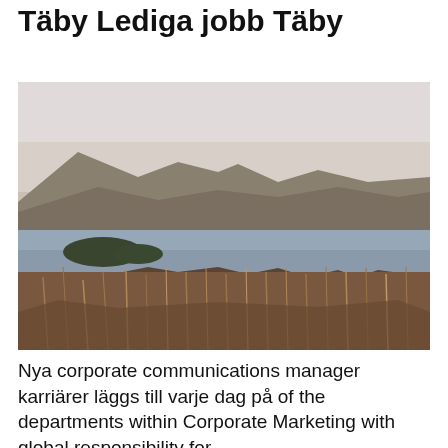Communications Manager Täby Lediga jobb Täby
[Figure (photo): Outdoor landscape photo showing a lake or fjord with hills and mountains in the background, scrubby dry vegetation in the foreground, taken in a dry/winter season with muted brown and grey tones.]
Nya corporate communications manager karriärer läggs till varje dag på of the departments within Corporate Marketing with global responsibility for